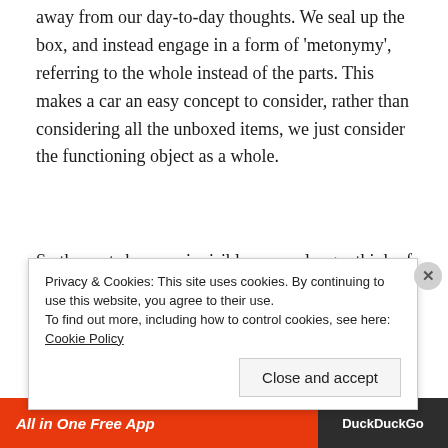away from our day-to-day thoughts. We seal up the box, and instead engage in a form of 'metonymy', referring to the whole instead of the parts. This makes a car an easy concept to consider, rather than considering all the unboxed items, we just consider the functioning object as a whole.
So the parts become invisible, we no longer think of the myriad of things that act, interact, and react to create a car, but we just think of it as a polished whole. That is, Latour argues, until something goes wrong. The key part of blackboxing a functioning item, of course, is the
Privacy & Cookies: This site uses cookies. By continuing to use this website, you agree to their use.
To find out more, including how to control cookies, see here: Cookie Policy
[Figure (other): Advertisement bar at the bottom showing 'All in One Free App' text on orange/red background and DuckDuckGo logo on dark background]